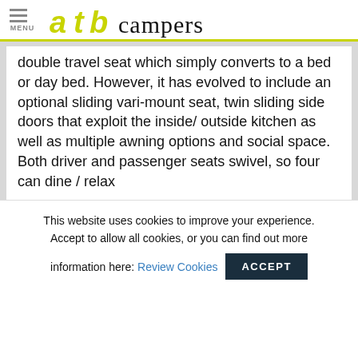MENU | ato campers
double travel seat which simply converts to a bed or day bed. However, it has evolved to include an optional sliding vari-mount seat, twin sliding side doors that exploit the inside/ outside kitchen as well as multiple awning options and social space. Both driver and passenger seats swivel, so four can dine / relax
This website uses cookies to improve your experience. Accept to allow all cookies, or you can find out more information here: Review Cookies ACCEPT